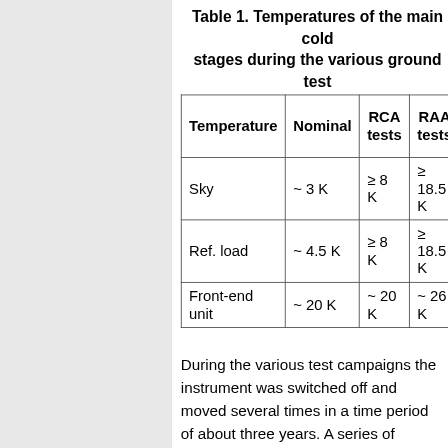Table 1. Temperatures of the main cold stages during the various ground test campaigns compared to in-flight nominal values
| Temperature | Nominal | RCA tests | RAA tests | System level |
| --- | --- | --- | --- | --- |
| Sky | ~ 3 K | ≥ 8 K | ≥ 18.5 K | ~ 4 K |
| Ref. load | ~ 4.5 K | ≥ 8 K | ≥ 18.5 K | ~ 4.5 K |
| Front-end unit | ~ 20 K | ~ 20 K | ~ 26 K | ~ 20 K |
During the various test campaigns the instrument was switched off and moved several times in a time period of about three years. A series of functional tests were always repeated at each location.